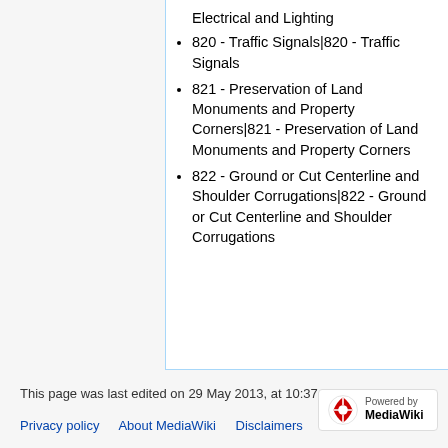Electrical and Lighting
820 - Traffic Signals|820 - Traffic Signals
821 - Preservation of Land Monuments and Property Corners|821 - Preservation of Land Monuments and Property Corners
822 - Ground or Cut Centerline and Shoulder Corrugations|822 - Ground or Cut Centerline and Shoulder Corrugations
This page was last edited on 29 May 2013, at 10:37.
Privacy policy   About MediaWiki   Disclaimers